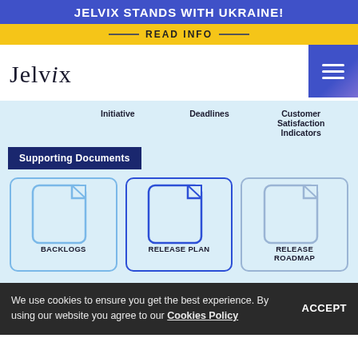JELVIX STANDS WITH UKRAINE!
READ INFO
[Figure (logo): Jelvix logo in serif/light font with hamburger menu icon on blue gradient background]
|  | Initiative | Deadlines | Customer Satisfaction Indicators |
| --- | --- | --- | --- |
Supporting Documents
[Figure (infographic): Three document icons labeled BACKLOGS, RELEASE PLAN, and RELEASE ROADMAP with light, medium, and dark blue borders respectively]
We use cookies to ensure you get the best experience. By using our website you agree to our Cookies Policy